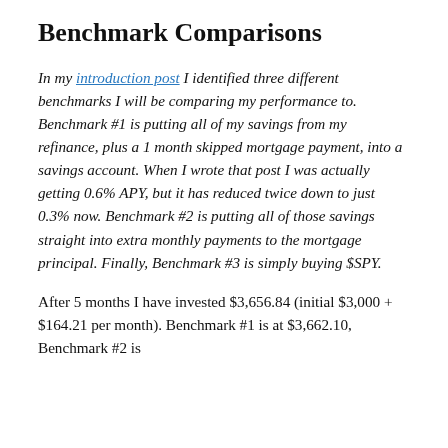Benchmark Comparisons
In my introduction post I identified three different benchmarks I will be comparing my performance to. Benchmark #1 is putting all of my savings from my refinance, plus a 1 month skipped mortgage payment, into a savings account. When I wrote that post I was actually getting 0.6% APY, but it has reduced twice down to just 0.3% now. Benchmark #2 is putting all of those savings straight into extra monthly payments to the mortgage principal. Finally, Benchmark #3 is simply buying $SPY.
After 5 months I have invested $3,656.84 (initial $3,000 + $164.21 per month). Benchmark #1 is at $3,662.10, Benchmark #2 is at $...